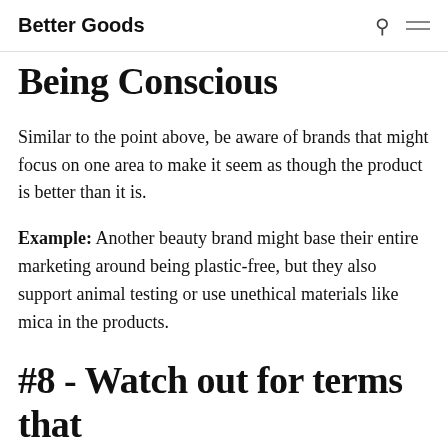Better Goods
Being Conscious
Similar to the point above, be aware of brands that might focus on one area to make it seem as though the product is better than it is.
Example: Another beauty brand might base their entire marketing around being plastic-free, but they also support animal testing or use unethical materials like mica in the products.
#8 - Watch out for terms that